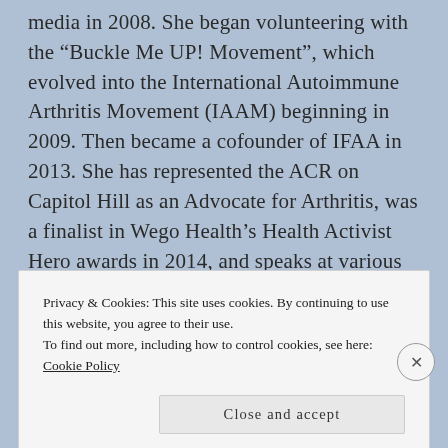media in 2008. She began volunteering with the "Buckle Me UP! Movement", which evolved into the International Autoimmune Arthritis Movement (IAAM) beginning in 2009. Then became a cofounder of IFAA in 2013. She has represented the ACR on Capitol Hill as an Advocate for Arthritis, was a finalist in Wego Health's Health Activist Hero awards in 2014, and speaks at various healthcare conferences as a patient advocate in the Philadelphia area.
Privacy & Cookies: This site uses cookies. By continuing to use this website, you agree to their use.
To find out more, including how to control cookies, see here: Cookie Policy